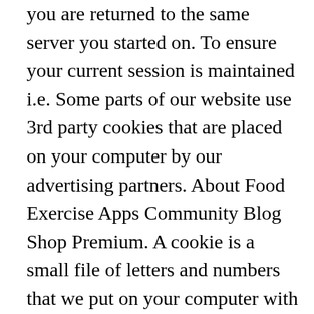you are returned to the same server you started on. To ensure your current session is maintained i.e. Some parts of our website use 3rd party cookies that are placed on your computer by our advertising partners. About Food Exercise Apps Community Blog Shop Premium. A cookie is a small file of letters and numbers that we put on your computer with your knowledge and consent. Daily dog walking (brisk pace, twice a day). Add Tesco Pink Ring Doughnuts 4 Pack add Tesco Pink Ring Doughnuts 4 Pack to basket. Information. There are 470 calories in 2 Tesco 5 Ring Doughnuts. Sign Up. £1.65 82.5p each. How much fat in Tesco 5 Jammy Doughnuts? Tesco 12 Pink Ring Doughnuts. Daily Goals. Protein